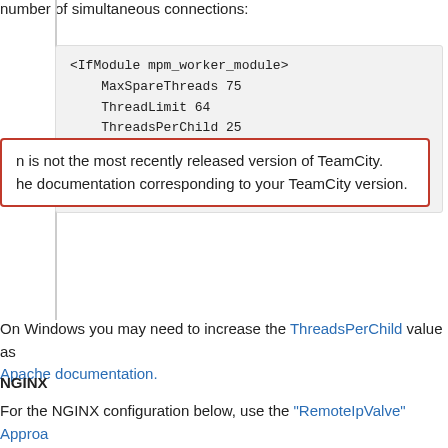number of simultaneous connections:
n is not the most recently released version of TeamCity.
he documentation corresponding to your TeamCity version.
<IfModule mpm_worker_module>
    MaxSpareThreads 75
    ThreadLimit 64
    ThreadsPerChild 25
    MaxClients 2500
    MaxRequestsPerChild 0
</IfModule>
On Windows you may need to increase the ThreadsPerChild value as described in the Apache documentation.
NGINX
For the NGINX configuration below, use the "RemoteIpValve" Approach to configure the TeamCity server.